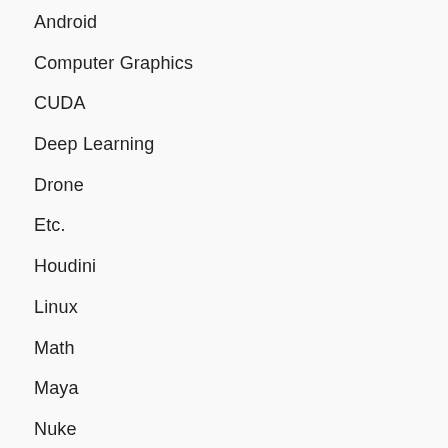Android
Computer Graphics
CUDA
Deep Learning
Drone
Etc.
Houdini
Linux
Math
Maya
Nuke
OpenGL